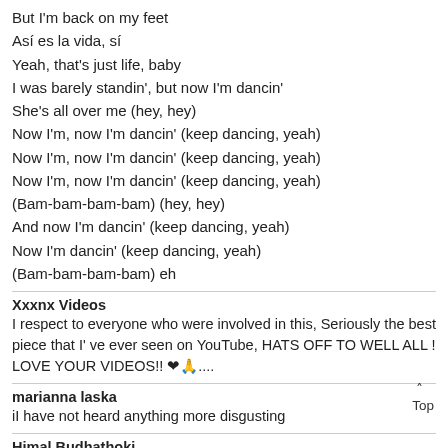But I'm back on my feet
Así es la vida, sí
Yeah, that's just life, baby
I was barely standin', but now I'm dancin'
She's all over me (hey, hey)
Now I'm, now I'm dancin' (keep dancing, yeah)
Now I'm, now I'm dancin' (keep dancing, yeah)
Now I'm, now I'm dancin' (keep dancing, yeah)
(Bam-bam-bam-bam) (hey, hey)
And now I'm dancin' (keep dancing, yeah)
Now I'm dancin' (keep dancing, yeah)
(Bam-bam-bam-bam) eh
Xxxnx Videos
I respect to everyone who were involved in this, Seriously the best piece that I' ve ever seen on YouTube, HATS OFF TO WELL ALL ! LOVE YOUR VIDEOS!! ❤🙏....
marianna laska
iI have not heard anything more disgusting
Himal Budhathoki
Not good
DANIEL GRACE